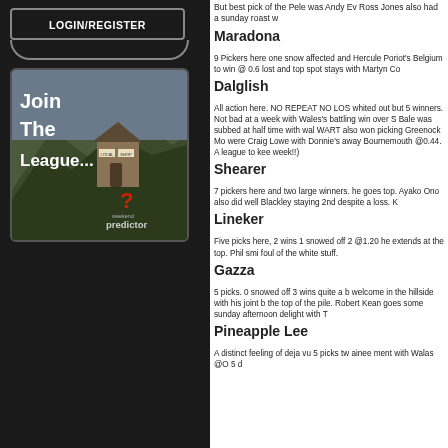LOGIN/REGISTER
[Figure (illustration): Join The League... weekend predictor advertisement image showing a hillside with a small building labeled LOCAL SHOP and a red question mark]
But best pick of the Pele was Andy Ev Ross Jones also had a sunday roast w
Maradona
9 Pickers here one snow affected and Hercule Poriot's Belgium to win @ 0.6 lost and top spot stays with Martyn Co
Dalglish
All action here. NO REPEAT NO LOS whited out but 5 winners. Not bad at a week with Wales's battling win over S Bale was subbed at half time with wal WART also won picking Greenock Mo were Craig Lowe with Donnie's away Bournemouth @0.44. A league to kee week!!)
Shearer
7 pickers here and two large winners. he goes top. Ayako Ono also did well Blackley staying 2nd despite a loss. K
Lineker
Five picks here, 2 wins 1 snowed off 2 @1.20 he extends at the top. Phil smi foul of the white stuff.
Gazza
5 picks. 0 snowed off 3 wins quite a b welcome in the hillside with his joint b the top of the pile. Robert Kean goes some sunday afternoon delight with T
Pineapple Lee
A distinct feeling of deja vu 5 picks tw ainee ment with Walas @O 5 d